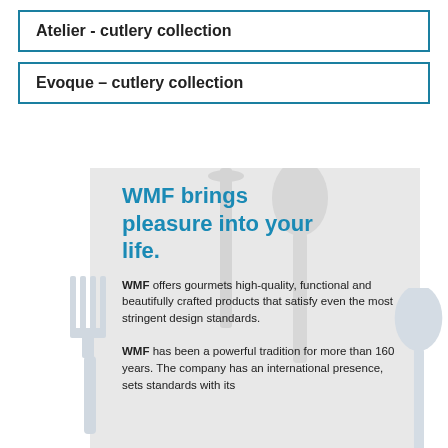Atelier - cutlery collection
Evoque – cutlery collection
[Figure (photo): Product promotional image for WMF cutlery showing a silver fork on the left, a spoon on the right, and cutlery silhouettes in the background on a gray panel. Text overlay reads 'WMF brings pleasure into your life.' with marketing copy about WMF's quality and tradition.]